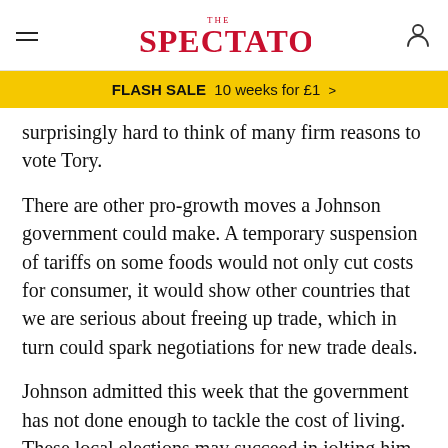The Spectator
FLASH SALE  10 weeks for £1 >
surprisingly hard to think of many firm reasons to vote Tory.
There are other pro-growth moves a Johnson government could make. A temporary suspension of tariffs on some foods would not only cut costs for consumer, it would show other countries that we are serious about freeing up trade, which in turn could spark negotiations for new trade deals.
Johnson admitted this week that the government has not done enough to tackle the cost of living. These local elections may succeed in jolting him to